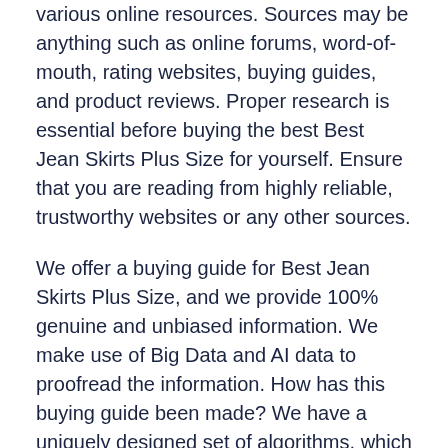various online resources. Sources may be anything such as online forums, word-of-mouth, rating websites, buying guides, and product reviews. Proper research is essential before buying the best Best Jean Skirts Plus Size for yourself. Ensure that you are reading from highly reliable, trustworthy websites or any other sources.
We offer a buying guide for Best Jean Skirts Plus Size, and we provide 100% genuine and unbiased information. We make use of Big Data and AI data to proofread the information. How has this buying guide been made? We have a uniquely designed set of algorithms, which enable us to make a list of top 10 Best Jean Skirts Plus Size that are available in the marketplace these days. Our technology of bringing together a list depends on the factors such as:
Brand Value